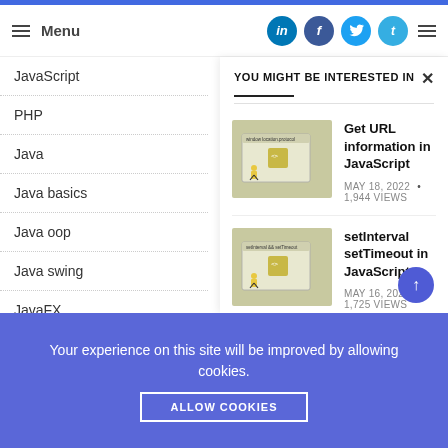Menu | LinkedIn | Facebook | Twitter | Tumblr
JavaScript
PHP
Java
Java basics
Java oop
Java swing
JavaFX
information sec
Sec-Plus
YOU MIGHT BE INTERESTED IN
[Figure (screenshot): Thumbnail showing 'window location.protocol' browser window illustration with a person in yellow jacket]
Get URL information in JavaScript
MAY 18, 2022 • 1,944 VIEWS
[Figure (screenshot): Thumbnail showing 'setInterval && setTimeout' browser window illustration with a person in yellow jacket]
setInterval setTimeout in JavaScript
MAY 16, 2022 • 1,725 VIEWS
Your experience on this site will be improved by allowing cookies.
ALLOW COOKIES